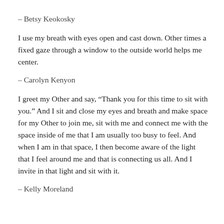– Betsy Keokosky
I use my breath with eyes open and cast down. Other times a fixed gaze through a window to the outside world helps me center.
– Carolyn Kenyon
I greet my Other and say, “Thank you for this time to sit with you.” And I sit and close my eyes and breath and make space for my Other to join me, sit with me and connect me with the space inside of me that I am usually too busy to feel. And when I am in that space, I then become aware of the light that I feel around me and that is connecting us all. And I invite in that light and sit with it.
– Kelly Moreland